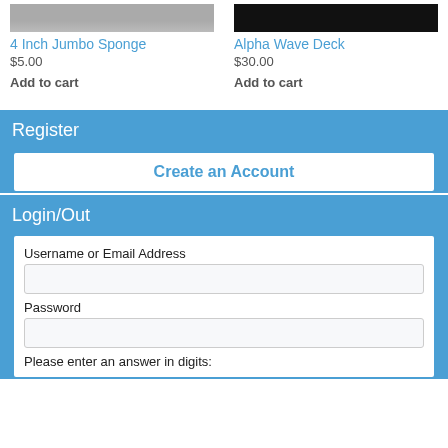[Figure (photo): Partial product image of 4 Inch Jumbo Sponge, cropped at top]
[Figure (photo): Partial product image of Alpha Wave Deck, dark background with logo, cropped at top]
4 Inch Jumbo Sponge
$5.00
Add to cart
Alpha Wave Deck
$30.00
Add to cart
Register
Create an Account
Login/Out
Username or Email Address
Password
Please enter an answer in digits: